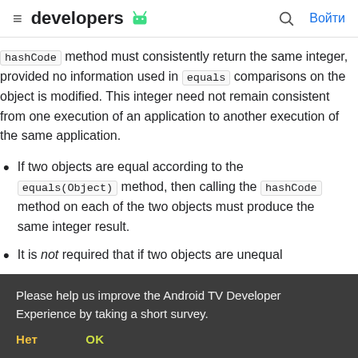developers [android logo] [search] Войти
hashCode method must consistently return the same integer, provided no information used in equals comparisons on the object is modified. This integer need not remain consistent from one execution of an application to another execution of the same application.
If two objects are equal according to the equals(Object) method, then calling the hashCode method on each of the two objects must produce the same integer result.
It is not required that if two objects are unequal
Please help us improve the Android TV Developer Experience by taking a short survey.
Нет   OK